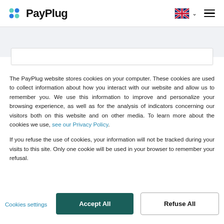PayPlug
The PayPlug website stores cookies on your computer. These cookies are used to collect information about how you interact with our website and allow us to remember you. We use this information to improve and personalize your browsing experience, as well as for the analysis of indicators concerning our visitors both on this website and on other media. To learn more about the cookies we use, see our Privacy Policy.
If you refuse the use of cookies, your information will not be tracked during your visits to this site. Only one cookie will be used in your browser to remember your refusal.
Cookies settings | Accept All | Refuse All